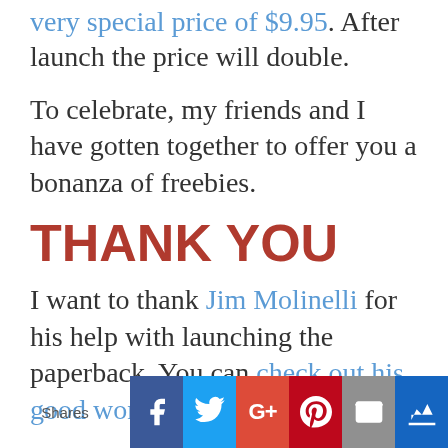very special price of $9.95. After launch the price will double.
To celebrate, my friends and I have gotten together to offer you a bonanza of freebies.
THANK YOU
I want to thank Jim Molinelli for his help with launching the paperback. You can check out his good work here.
[Figure (infographic): Social share bar with Shares label and buttons for Facebook, Twitter, Google+, Pinterest, Email, and Crown/bookmark service]